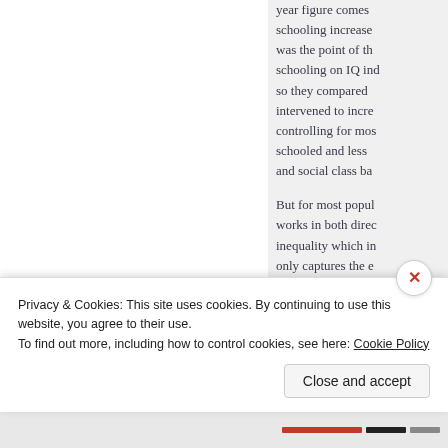year figure comes from schooling increase was the point of the schooling on IQ ind so they compared intervened to incre controlling for mos schooled and less and social class ba

But for most popul works in both direc inequality which in only captures the e underestimates th
Privacy & Cookies: This site uses cookies. By continuing to use this website, you agree to their use.
To find out more, including how to control cookies, see here: Cookie Policy
Close and accept